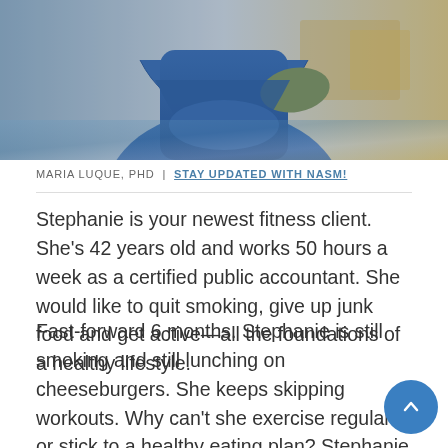[Figure (photo): Photo of a person in a blue long-sleeve shirt, appearing to be in a gym or fitness setting, cropped at the torso/arms area.]
MARIA LUQUE, PHD | STAY UPDATED WITH NASM!
Stephanie is your newest fitness client. She’s 42 years old and works 50 hours a week as a certified public accountant. She would like to quit smoking, give up junk food and get active—all the foundations of a healthy lifestyle.
Fast-forward 6 months. Stephanie is still smoking and still lunching on cheeseburgers. She keeps skipping workouts. Why can’t she exercise regularly or stick to a healthy eating plan? Stephanie may not even know herself. If that’s the case, then how can you help her